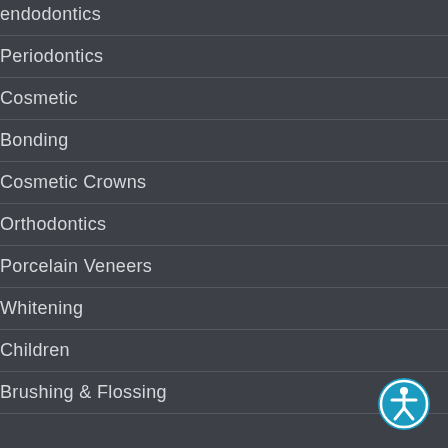endodontics
Periodontics
Cosmetic
Bonding
Cosmetic Crowns
Orthodontics
Porcelain Veneers
Whitening
Children
Brushing & Flossing
[Figure (illustration): Accessibility icon button — circular teal/blue button with white person figure in center, positioned bottom right]